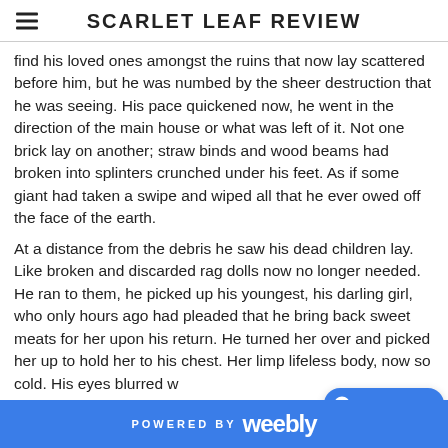SCARLET LEAF REVIEW
find his loved ones amongst the ruins that now lay scattered before him, but he was numbed by the sheer destruction that he was seeing. His pace quickened now, he went in the direction of the main house or what was left of it. Not one brick lay on another; straw binds and wood beams had broken into splinters crunched under his feet. As if some giant had taken a swipe and wiped all that he ever owed off the face of the earth.
At a distance from the debris he saw his dead children lay. Like broken and discarded rag dolls now no longer needed. He ran to them, he picked up his youngest, his darling girl, who only hours ago had pleaded that he bring back sweet meats for her upon his return. He turned her over and picked her up to hold her to his chest. Her limp lifeless body, now so cold. His eyes blurred w
POWERED BY weebly